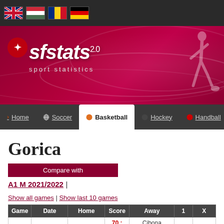[Figure (screenshot): Flag bar with UK, Hungary, Romania, and Germany flags]
[Figure (logo): sfstats 2.0 sport statistics logo banner with dark red background and soccer player silhouette]
Home | Soccer | Basketball | Hockey | Handball
Gorica
Compare with
A1 M 2021/2022 |
Show all games | Show last 10 games
| Game | Date | Home | Score | Away | 1 | X |
| --- | --- | --- | --- | --- | --- | --- |
| 6 | 2022.04.13 | Gorica | 70 : 85 | Cibona Záhřeb | 3.70 | 16.5 |
| 7 | 2022.04.19 | Split Croatia | 77 : 74 | Gorica | 1.21 | 18.0 |
| 8 | 2022.04.24 | Gorica | 81 : 74 | Cedevita Junior | 1.80 | 12.7 |